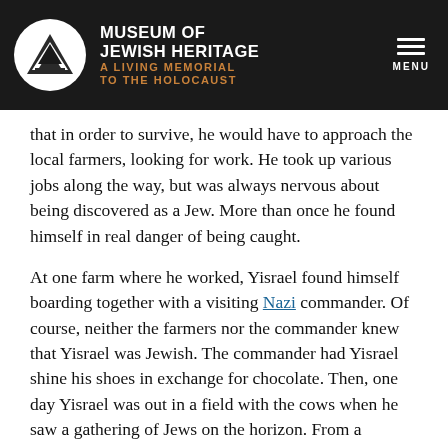MUSEUM OF JEWISH HERITAGE A LIVING MEMORIAL TO THE HOLOCAUST
that in order to survive, he would have to approach the local farmers, looking for work. He took up various jobs along the way, but was always nervous about being discovered as a Jew. More than once he found himself in real danger of being caught.
At one farm where he worked, Yisrael found himself boarding together with a visiting Nazi commander. Of course, neither the farmers nor the commander knew that Yisrael was Jewish. The commander had Yisrael shine his shoes in exchange for chocolate. Then, one day Yisrael was out in a field with the cows when he saw a gathering of Jews on the horizon. From a distance, he saw the Nazi commander shot the Jews one by one. Once again, Yisrael realized it was time to move on.
In the fall of 1942, Yisrael found his way into a forest where he noticed a German patrol. He realized that he had reached the border between Poland and Slovakia. Of course, the patrol stopped him and asked where he was from and where he was